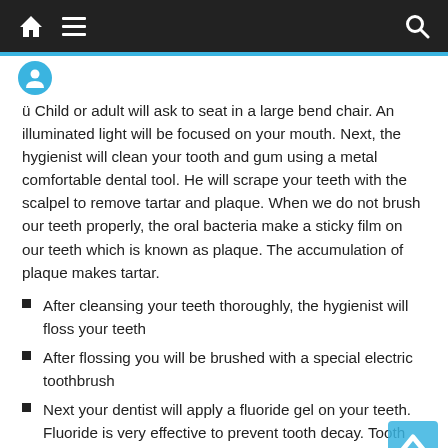Navigation bar with home, menu, and search icons
ü Child or adult will ask to seat in a large bend chair. An illuminated light will be focused on your mouth. Next, the hygienist will clean your tooth and gum using a metal comfortable dental tool. He will scrape your teeth with the scalpel to remove tartar and plaque. When we do not brush our teeth properly, the oral bacteria make a sticky film on our teeth which is known as plaque. The accumulation of plaque makes tartar.
After cleansing your teeth thoroughly, the hygienist will floss your teeth
After flossing you will be brushed with a special electric toothbrush
Next your dentist will apply a fluoride gel on your teeth. Fluoride is very effective to prevent tooth decay. Tooth decay promotes the cavity